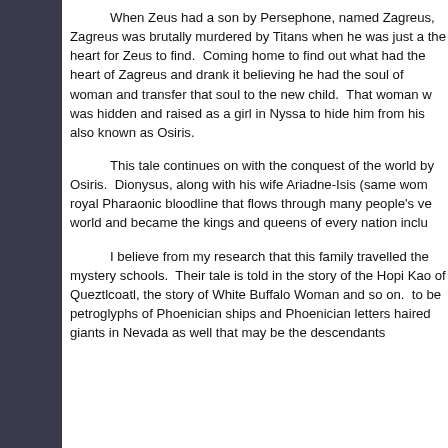When Zeus had a son by Persephone, named Zagreus, Zagreus was brutally murdered by Titans when he was just a the heart for Zeus to find. Coming home to find out what had the heart of Zagreus and drank it believing he had the soul of woman and transfer that soul to the new child. That woman w was hidden and raised as a girl in Nyssa to hide him from his also known as Osiris.
This tale continues on with the conquest of the world by Osiris. Dionysus, along with his wife Ariadne-Isis (same wom royal Pharaonic bloodline that flows through many people's ve world and became the kings and queens of every nation inclu
I believe from my research that this family travelled the mystery schools. Their tale is told in the story of the Hopi Kao of Queztlcoatl, the story of White Buffalo Woman and so on. to be petroglyphs of Phoenician ships and Phoenician letters haired giants in Nevada as well that may be the descendants